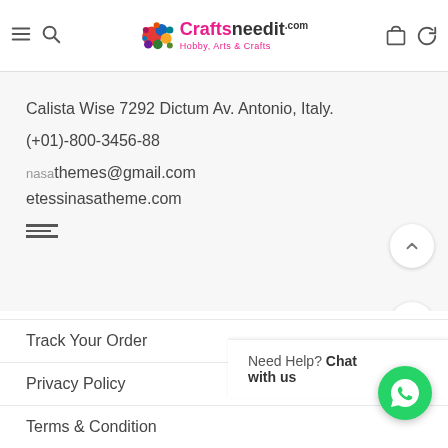CraftsNeedit.com — Hobby, Arts & Crafts
Calista Wise 7292 Dictum Av. Antonio, Italy.
(+01)-800-3456-88
nasathemes@gmail.com
etessinasatheme.com
Track Your Order
Privacy Policy
Terms & Condition
Need Help? Chat with us